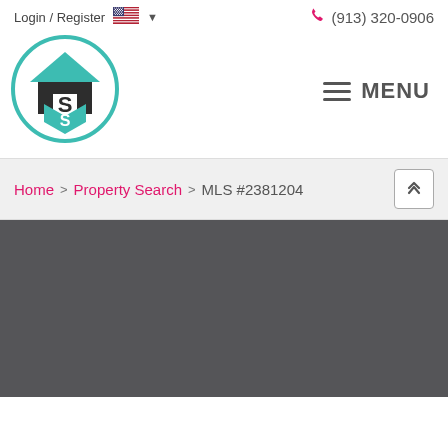Login / Register  (913) 320-0906
[Figure (logo): Realty company logo: teal circle with house icon and letter S]
MENU
Home > Property Search > MLS #2381204